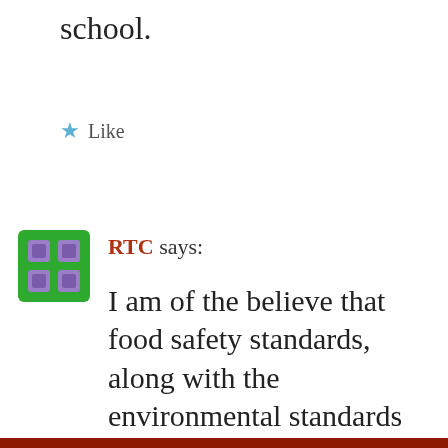school.
Like
RTC says:
I am of the believe that food safety standards, along with the environmental standards of China will eventually become the status quo for the world, much like the surveillance network has.